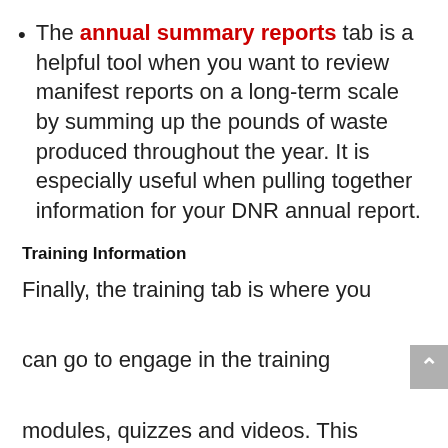The annual summary reports tab is a helpful tool when you want to review manifest reports on a long-term scale by summing up the pounds of waste produced throughout the year. It is especially useful when pulling together information for your DNR annual report.
Training Information
Finally, the training tab is where you can go to engage in the training modules, quizzes and videos. This section also has free posters, such